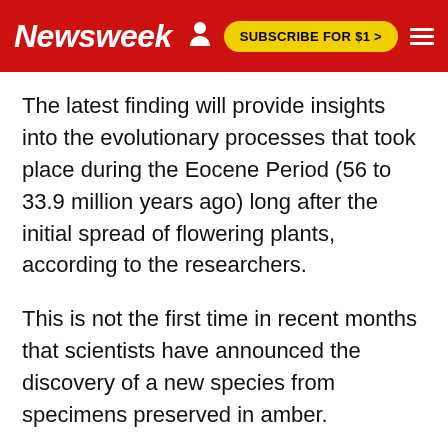Newsweek | SUBSCRIBE FOR $1 >
The latest finding will provide insights into the evolutionary processes that took place during the Eocene Period (56 to 33.9 million years ago) long after the initial spread of flowering plants, according to the researchers.
This is not the first time in recent months that scientists have announced the discovery of a new species from specimens preserved in amber.